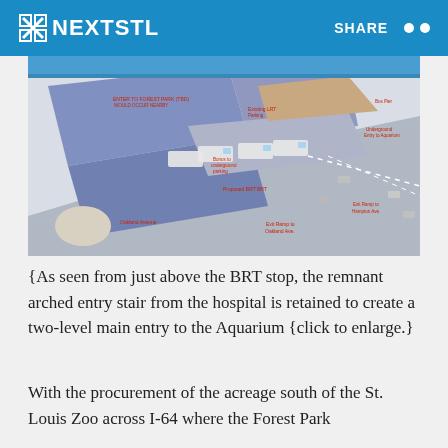NEXTSTL   SHARE
[Figure (illustration): Aerial 3D rendering of a BRT stop area near Forest Park/hospital site, with buses lined up along a transit platform, labeled streets (Oakland Avenue, Exit Ramps to Oakland Ave., Exit Ramp to Hampton Ave.), parking areas, and red annotation labels on various features.]
{As seen from just above the BRT stop, the remnant arched entry stair from the hospital is retained to create a two-level main entry to the Aquarium {click to enlarge.}
With the procurement of the acreage south of the St. Louis Zoo across I-64 where the Forest Park